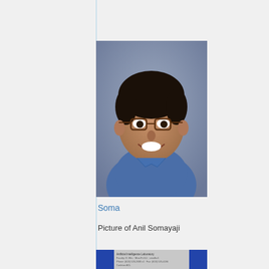[Figure (photo): Headshot photo of Anil Somayaji, a man wearing glasses and a blue shirt, smiling, against a gray background]
Soma
Picture of Anil Somayaji
[Figure (screenshot): Partial screenshot of a webpage or document with blue sidebar elements and gray content area containing small text]